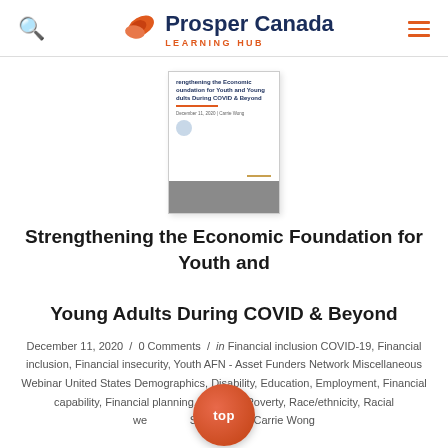Prosper Canada LEARNING HUB
[Figure (screenshot): Thumbnail of the document cover page showing partial title 'Strengthening the Economic Foundation for Youth and Young Adults During COVID & Beyond' with Prosper Canada branding and logo]
Strengthening the Economic Foundation for Youth and Young Adults During COVID & Beyond
December 11, 2020 / 0 Comments / in Financial inclusion COVID-19, Financial inclusion, Financial insecurity, Youth AFN - Asset Funders Network Miscellaneous Webinar United States Demographics, Disability, Education, Employment, Financial capability, Financial planning, Housing, Poverty, Race/ethnicity, Racial wealth gap, Saving / by Carrie Wong